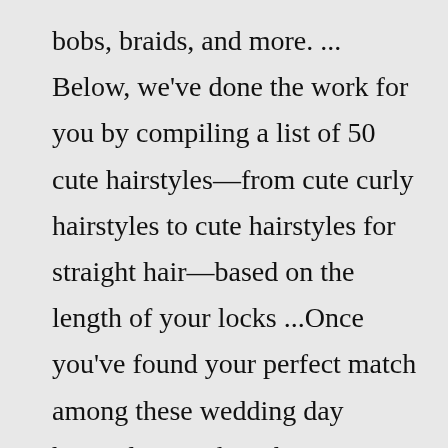bobs, braids, and more. ... Below, we've done the work for you by compiling a list of 50 cute hairstyles—from cute curly hairstyles to cute hairstyles for straight hair—based on the length of your locks ...Once you've found your perfect match among these wedding day hairstyles, work with a professional stylist to make it a reality. 1. Classic Low Chignon. Hunter Ryan Photo. When it comes to wedding hairstyles, this